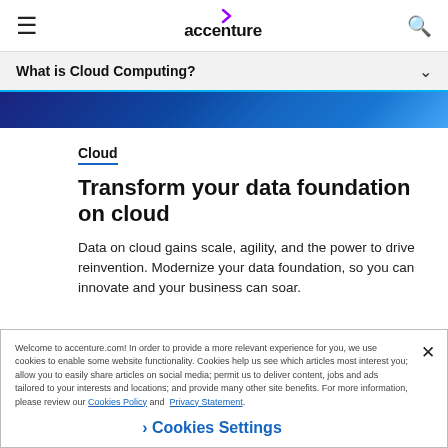accenture
What is Cloud Computing?
[Figure (photo): Blue banner/image strip with dark triangle in bottom-left corner]
Cloud
Transform your data foundation on cloud
Data on cloud gains scale, agility, and the power to drive reinvention. Modernize your data foundation, so you can innovate and your business can soar.
Welcome to accenture.com! In order to provide a more relevant experience for you, we use cookies to enable some website functionality. Cookies help us see which articles most interest you; allow you to easily share articles on social media; permit us to deliver content, jobs and ads tailored to your interests and locations; and provide many other site benefits. For more information, please review our Cookies Policy and Privacy Statement.
Cookies Settings